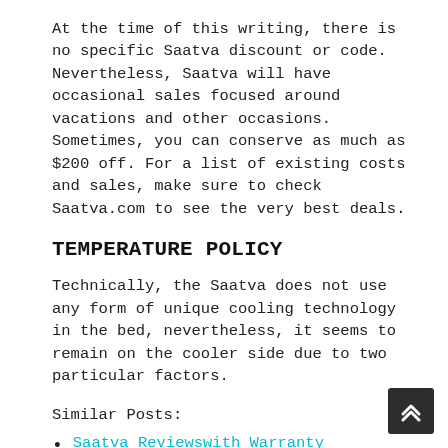At the time of this writing, there is no specific Saatva discount or code. Nevertheless, Saatva will have occasional sales focused around vacations and other occasions. Sometimes, you can conserve as much as $200 off. For a list of existing costs and sales, make sure to check Saatva.com to see the very best deals.
TEMPERATURE POLICY
Technically, the Saatva does not use any form of unique cooling technology in the bed, nevertheless, it seems to remain on the cooler side due to two particular factors.
Similar Posts:
Saatva Reviewswith Warranty